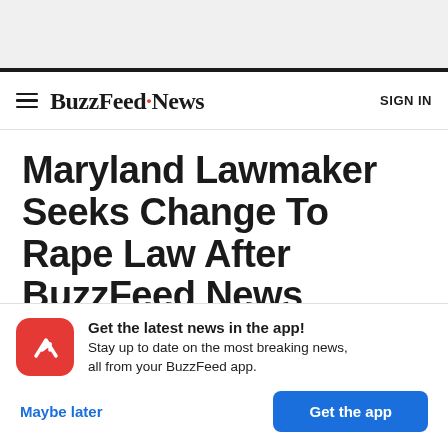BuzzFeed News
Maryland Lawmaker Seeks Change To Rape Law After BuzzFeed News Report
Get the latest news in the app! Stay up to date on the most breaking news, all from your BuzzFeed app.
Maybe later
Get the app